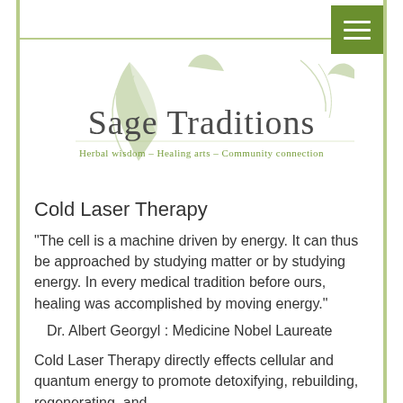[Figure (logo): Sage Traditions logo with botanical leaf/swirl design and tagline: Herbal wisdom – Healing arts – Community connection]
Cold Laser Therapy
“The cell is a machine driven by energy. It can thus be approached by studying matter or by studying energy. In every medical tradition before ours, healing was accomplished by moving energy.”
Dr. Albert Georgyl : Medicine Nobel Laureate
Cold Laser Therapy directly effects cellular and quantum energy to promote detoxifying, rebuilding, regenerating, and